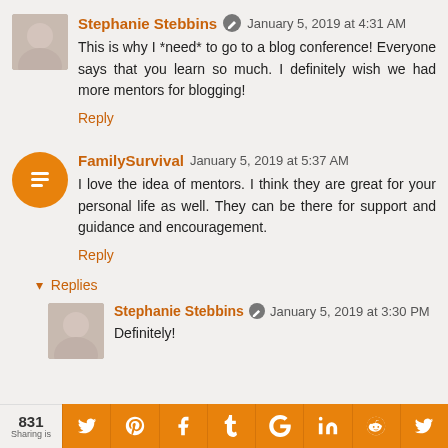Stephanie Stebbins  January 5, 2019 at 4:31 AM
This is why I *need* to go to a blog conference! Everyone says that you learn so much. I definitely wish we had more mentors for blogging!
Reply
FamilySurvival  January 5, 2019 at 5:37 AM
I love the idea of mentors. I think they are great for your personal life as well. They can be there for support and guidance and encouragement.
Reply
Replies
Stephanie Stebbins  January 5, 2019 at 3:30 PM
Definitely!
831 Sharing is